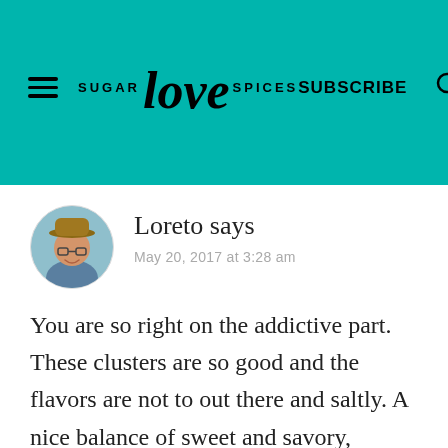SUGAR love SPICES  SUBSCRIBE
[Figure (photo): Circular avatar photo of a man wearing a hat and glasses, outdoors]
Loreto says
May 20, 2017 at 3:28 am
You are so right on the addictive part. These clusters are so good and the flavors are not to out there and saltly. A nice balance of sweet and savory, combined woth crunchy textures makes it so fun